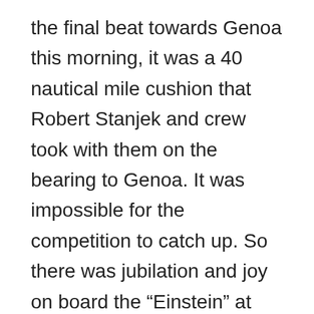the final beat towards Genoa this morning, it was a 40 nautical mile cushion that Robert Stanjek and crew took with them on the bearing to Genoa. It was impossible for the competition to catch up. So there was jubilation and joy on board the “Einstein” at the finish at 11:36 a.m. – coupled with exhaustion and relief after a long, nerve-racking leg.
The race-deciding Coastal Race will start on Saturday for the Imocas at 12.15 pm. The winner will receive three points for the ranking, the two runners-up two and one